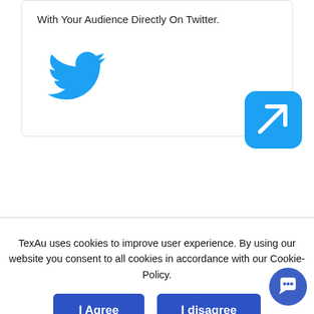With Your Audience Directly On Twitter.
[Figure (logo): Twitter bird logo in blue]
[Figure (illustration): Blue rounded square button with white arrow pointing upper-right]
TexAu uses cookies to improve user experience. By using our website you consent to all cookies in accordance with our Cookie-Policy.
[Figure (illustration): I Agree button - dark blue rounded rectangle]
[Figure (illustration): I disagree button - dark blue rounded rectangle]
[Figure (illustration): Blue circular chat/support button with white chat icon]